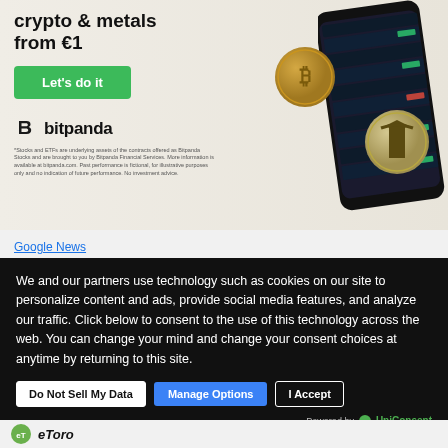[Figure (infographic): Bitpanda advertisement banner showing crypto and metals investment from €1, with a 'Let's do it' green CTA button, Bitpanda logo, a smartphone displaying a trading app, Bitcoin coin and Tesla coin graphics, and a disclaimer about stocks and ETFs.]
Google News
We and our partners use technology such as cookies on our site to personalize content and ads, provide social media features, and analyze our traffic. Click below to consent to the use of this technology across the web. You can change your mind and change your consent choices at anytime by returning to this site.
Do Not Sell My Data | Manage Options | I Accept
Powered by UniConsent
eToro